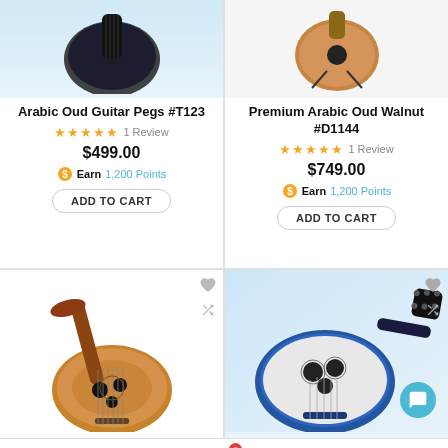[Figure (photo): Product image of Arabic Oud Guitar Pegs #T123 - partial view from top]
Arabic Oud Guitar Pegs #T123
★★★★★ 1 Review
$499.00
Earn 1,200 Points
ADD TO CART
[Figure (photo): Product image of Premium Arabic Oud Walnut #D1144 on a stand]
Premium Arabic Oud Walnut #D1144
★★★★★ 1 Review
$749.00
Earn 1,200 Points
ADD TO CART
[Figure (photo): Product image of an oud instrument (partial view)]
[Figure (photo): Product image of a blue oud instrument]
Home | Search | Cart (0) | Account | More